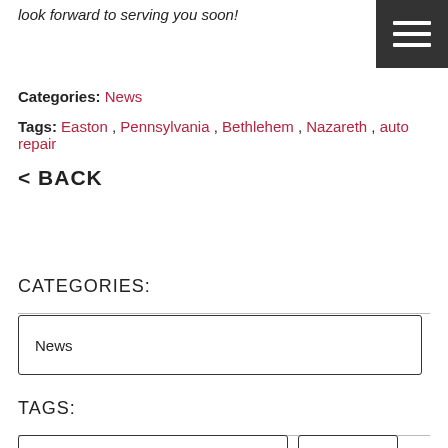look forward to serving you soon!
Categories: News
Tags: Easton , Pennsylvania , Bethlehem , Nazareth , auto repair
< BACK
CATEGORIES:
News
TAGS: